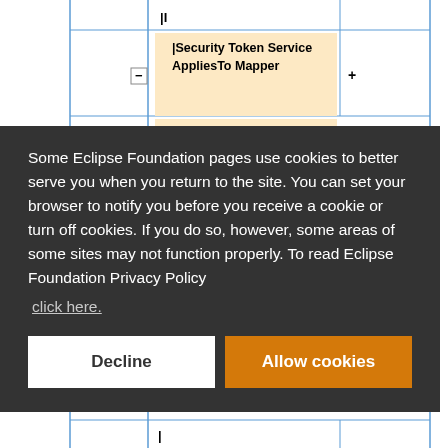[Figure (engineering-diagram): UML class diagram showing Security Token Service AppliesTo Mapper and related dependencies with expand/collapse controls]
Some Eclipse Foundation pages use cookies to better serve you when you return to the site. You can set your browser to notify you before you receive a cookie or turn off cookies. If you do so, however, some areas of some sites may not function properly. To read Eclipse Foundation Privacy Policy click here.